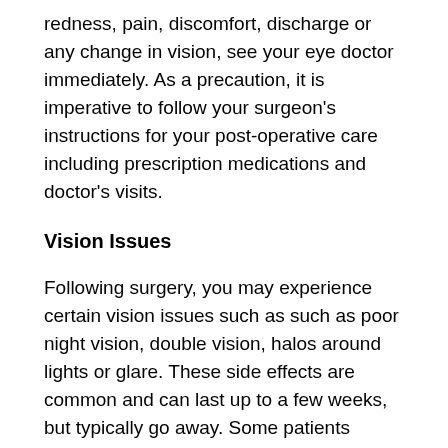redness, pain, discomfort, discharge or any change in vision, see your eye doctor immediately. As a precaution, it is imperative to follow your surgeon's instructions for your post-operative care including prescription medications and doctor's visits.
Vision Issues
Following surgery, you may experience certain vision issues such as such as poor night vision, double vision, halos around lights or glare. These side effects are common and can last up to a few weeks, but typically go away. Some patients report a lasting reduction in vision in low light conditions and may require vision aids for seeing better at night.
Other risks of LASIK include surgical errors, many of